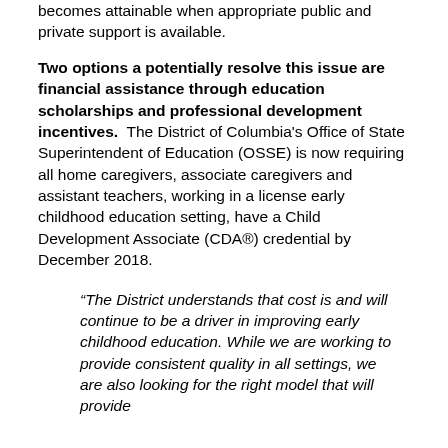becomes attainable when appropriate public and private support is available.
Two options a potentially resolve this issue are financial assistance through education scholarships and professional development incentives.  The District of Columbia's Office of State Superintendent of Education (OSSE) is now requiring all home caregivers, associate caregivers and assistant teachers, working in a license early childhood education setting, have a Child Development Associate (CDA®) credential by December 2018.
“The District understands that cost is and will continue to be a driver in improving early childhood education. While we are working to provide consistent quality in all settings, we are also looking for the right model that will provide